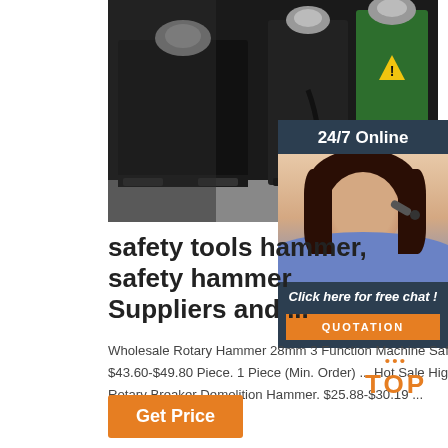[Figure (photo): Industrial machinery photo showing black and green heavy machines (rotary hammer/demolition equipment) in a factory setting]
[Figure (photo): 24/7 Online chat widget with photo of smiling female customer service representative wearing headset, with 'Click here for free chat!' text and orange QUOTATION button]
safety tools hammer, safety hammer Suppliers and ...
Wholesale Rotary Hammer 28mm 3 Function Machine Safety Tool Electric Power Tool. Ready to Ship. $43.60-$49.80 Piece. 1 Piece (Min. Order) ... Hot Sale High Safety Level Hammer Tool HAMMER DRILL Rotary Breaker Demolition Hammer. $25.88-$30.19 ...
[Figure (logo): TOP badge with orange dots and orange bold TOP text]
Get Price